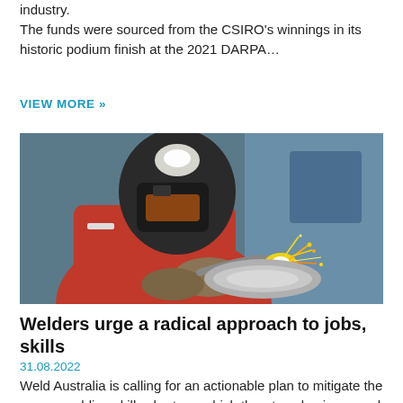industry. The funds were sourced from the CSIRO's winnings in its historic podium finish at the 2021 DARPA…
VIEW MORE »
[Figure (photo): A welder in a red protective suit and dark welding helmet, producing sparks while welding a metallic surface. The background is blurred blue and industrial.]
Welders urge a radical approach to jobs, skills
31.08.2022
Weld Australia is calling for an actionable plan to mitigate the severe welding skills shortage which threatens business and